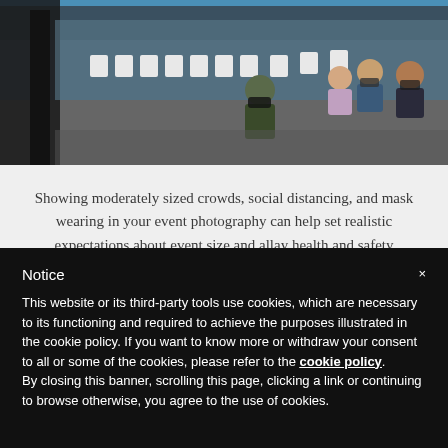[Figure (photo): Photo showing people seated in white chairs with social distancing and wearing masks at an indoor event venue]
Showing moderately sized crowds, social distancing, and mask wearing in your event photography can help set realistic expectations about event size and allay health and safety concerns.
Notice
×
This website or its third-party tools use cookies, which are necessary to its functioning and required to achieve the purposes illustrated in the cookie policy. If you want to know more or withdraw your consent to all or some of the cookies, please refer to the cookie policy.
By closing this banner, scrolling this page, clicking a link or continuing to browse otherwise, you agree to the use of cookies.